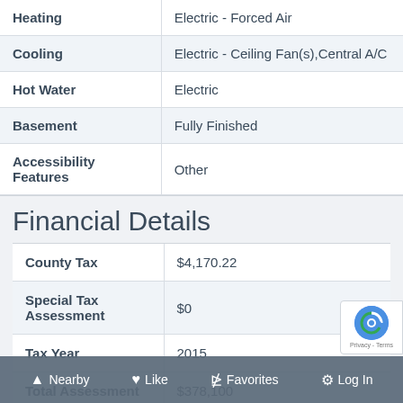| Property | Value |
| --- | --- |
| Heating | Electric - Forced Air |
| Cooling | Electric - Ceiling Fan(s),Central A/C |
| Hot Water | Electric |
| Basement | Fully Finished |
| Accessibility Features | Other |
Financial Details
| Field | Value |
| --- | --- |
| County Tax | $4,170.22 |
| Special Tax Assessment | $0 |
| Tax Year | 2015 |
| Total Assessment | $378,100 |
| Total |  |